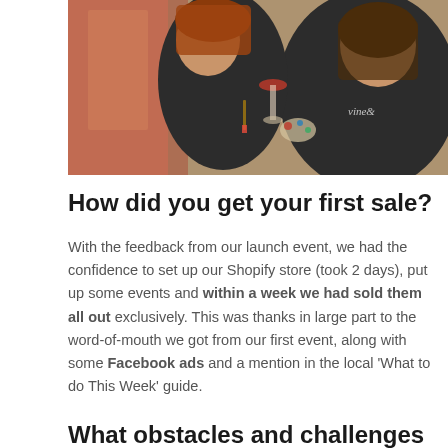[Figure (photo): Two women at a paint and wine event; one holds a wine glass and is painting, wearing a dark branded shirt. Warm indoor lighting, easels and art supplies visible.]
How did you get your first sale?
With the feedback from our launch event, we had the confidence to set up our Shopify store (took 2 days), put up some events and within a week we had sold them all out exclusively. This was thanks in large part to the word-of-mouth we got from our first event, along with some Facebook ads and a mention in the local ‘What to do This Week’ guide.
What obstacles and challenges have you overcome along the way?